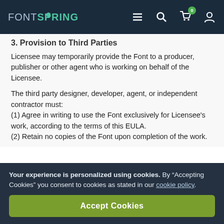FONTSPRING
3. Provision to Third Parties
Licensee may temporarily provide the Font to a producer, publisher or other agent who is working on behalf of the Licensee.
The third party designer, developer, agent, or independent contractor must:
(1) Agree in writing to use the Font exclusively for Licensee's work, according to the terms of this EULA.
(2) Retain no copies of the Font upon completion of the work.
Your experience is personalized using cookies. By “Accepting Cookies” you consent to cookies as stated in our cookie policy.
Accept Cookies